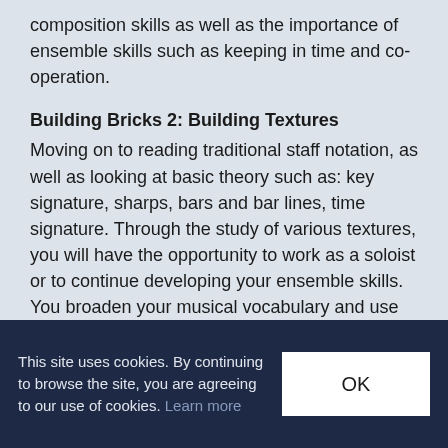composition skills as well as the importance of ensemble skills such as keeping in time and co-operation.
Building Bricks 2: Building Textures
Moving on to reading traditional staff notation, as well as looking at basic theory such as: key signature, sharps, bars and bar lines, time signature. Through the study of various textures, you will have the opportunity to work as a soloist or to continue developing your ensemble skills. You broaden your musical vocabulary and use this to begin in-depth analysis of different musical styles.
This site uses cookies. By continuing to browse the site, you are agreeing to our use of cookies. Learn more